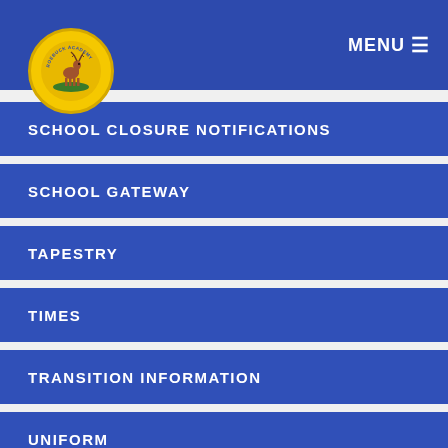MENU
[Figure (logo): School logo: circular badge with a deer/stag standing on green grass, gold border, text around the edge reading 'ROEBUCK ACADEMY']
SCHOOL CLOSURE NOTIFICATIONS
SCHOOL GATEWAY
TAPESTRY
TIMES
TRANSITION INFORMATION
UNIFORM